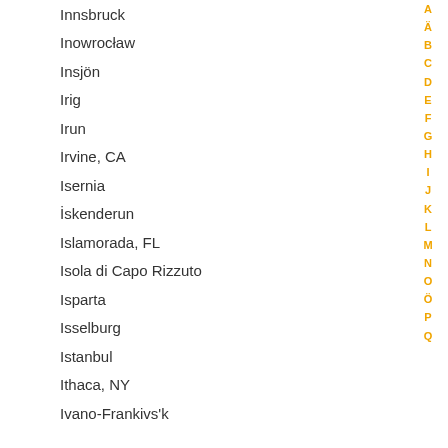Innsbruck
Inowrocław
Insjön
Irig
Irun
Irvine, CA
Isernia
İskenderun
Islamorada, FL
Isola di Capo Rizzuto
Isparta
Isselburg
Istanbul
Ithaca, NY
Ivano-Frankivs'k